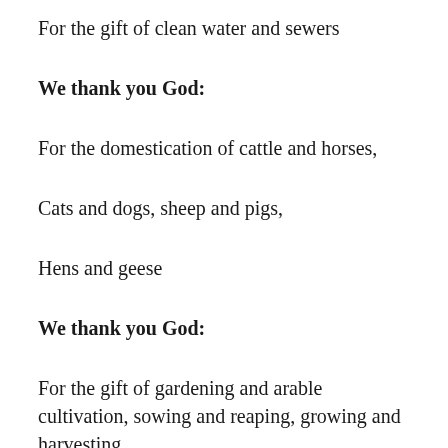For the gift of clean water and sewers
We thank you God:
For the domestication of cattle and horses,
Cats and dogs, sheep and pigs,
Hens and geese
We thank you God:
For the gift of gardening and arable cultivation, sowing and reaping, growing and harvesting